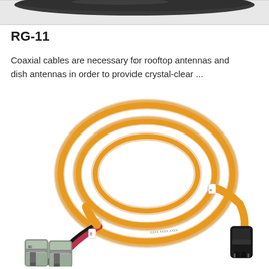[Figure (photo): Top partial photo strip showing a dark coaxial cable on a light background, cropped at top of page.]
RG-11
Coaxial cables are necessary for rooftop antennas and dish antennas in order to provide crystal-clear ...
[Figure (photo): Photo of an orange fiber optic patch cable coiled in a loop, with SC duplex connectors on the left end (one black, one red/pink) and an MTRJ connector on the right end. White cable ties hold the coil together.]